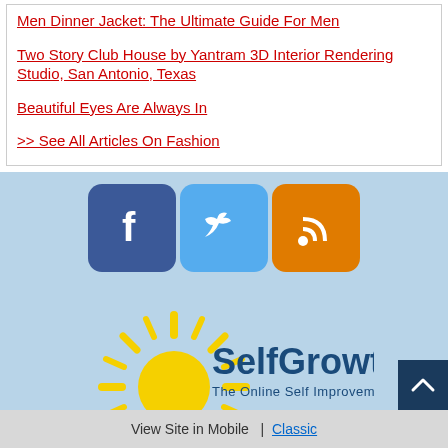Men Dinner Jacket: The Ultimate Guide For Men
Two Story Club House by Yantram 3D Interior Rendering Studio, San Antonio, Texas
Beautiful Eyes Are Always In
>> See All Articles On Fashion
[Figure (logo): Social media icons: Facebook (blue rounded square with f), Twitter (light blue rounded square with bird), RSS (orange rounded square with wifi/rss symbol)]
[Figure (logo): SelfGrowth.com logo with yellow sun rays and blue text 'SelfGrowth.com' and tagline 'The Online Self Improvement Community']
View Site in Mobile  |  Classic